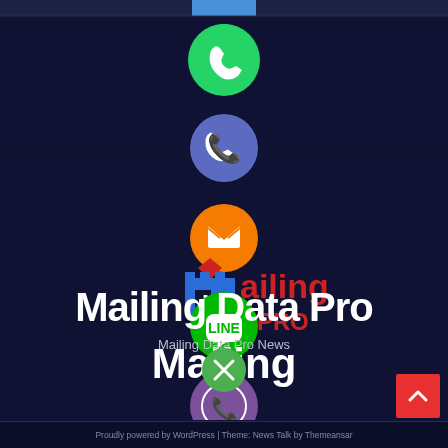[Figure (screenshot): Website interface for Mailing Data Pro showing a vertical column of social media contact icons (WhatsApp green, phone blue, email orange, LINE green, Viber purple) overlaid on a dark navy background, with the Mailing Data Pro logo, site title, subtitle 'Mailing Data Pro News', a green close button, a red back-to-top arrow button, and a footer with 'Proudly powered by WordPress | Theme: News Talk by Themeansar']
Mailing Data Pro
Mailing Data Pro News
Proudly powered by WordPress | Theme: News Talk by Themeansar